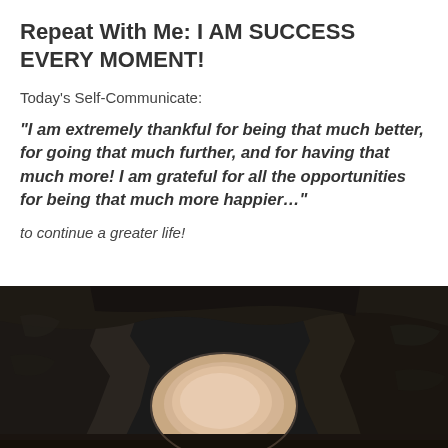Repeat With Me: I AM SUCCESS EVERY MOMENT!
Today's Self-Communicate:
“I am extremely thankful for being that much better, for going that much further, and for having that much more! I am grateful for all the opportunities for being that much more happier…”
to continue a greater life!
[Figure (photo): Dark rocky cave or arch opening with a light-colored ground or sky visible through the opening, viewed from inside the cave looking outward.]